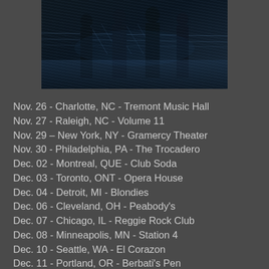[Figure (photo): Dark moody photo of band silhouettes standing in front of a fence, blue-black tones with reflective floor]
Nov. 26 - Charlotte, NC - Tremont Music Hall
Nov. 27 - Raleigh, NC - Volume 11
Nov. 29 – New York, NY - Gramercy Theater
Nov. 30 - Philadelphia, PA - The Trocadero
Dec. 02 - Montreal, QUE - Club Soda
Dec. 03 - Toronto, ONT - Opera House
Dec. 04 - Detroit, MI - Blondies
Dec. 06 - Cleveland, OH - Peabody's
Dec. 07 - Chicago, IL - Reggie Rock Club
Dec. 08 - Minneapolis, MN - Station 4
Dec. 10 - Seattle, WA - El Corazon
Dec. 11 - Portland, OR - Berbati's Pen
Dec. 14 - Los Angeles, CA - Key Club
Dec. 15 - Ventura, CA - Ventura Theater
Dec. 16 - Tempe, AZ - Marquee Theater
Dec. 18 - San Antonio, TX - Backstage Live